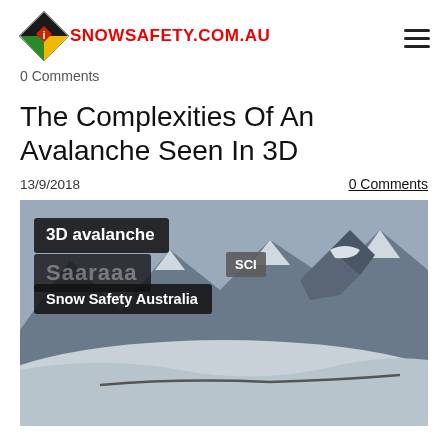SNOWSAFETY.COM.AU
0 Comments
The Complexities Of An Avalanche Seen In 3D
13/9/2018
0 Comments
[Figure (screenshot): Video thumbnail showing a 3D avalanche simulation over a snowy mountain landscape. Overlay text reads '3D avalanche', 'SCI', and 'Snow Safety Australia'.]